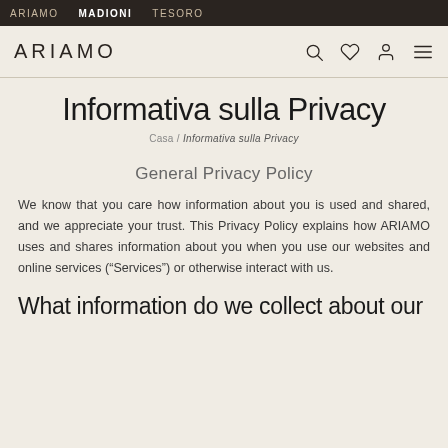ARIAMO  MADIONI  TESORO
ARIAMO
Informativa sulla Privacy
Casa / Informativa sulla Privacy
General Privacy Policy
We know that you care how information about you is used and shared, and we appreciate your trust. This Privacy Policy explains how ARIAMO uses and shares information about you when you use our websites and online services (“Services”) or otherwise interact with us.
What information do we collect about our